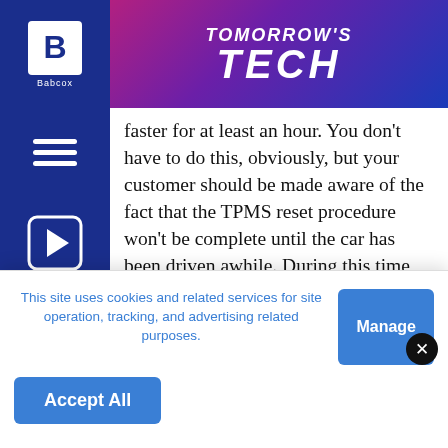[Figure (logo): Babcox logo: white B in square on dark blue sidebar, with 'Babcox' text below]
TOMORROW'S TECH
faster for at least an hour. You don't have to do this, obviously, but your customer should be made aware of the fact that the TPMS reset procedure won't be complete until the car has been driven awhile. During this time, the TPMS system may not be able to detect a low tire, so make sure all the tires have been inflated to the correct pressure before the vehicle leaves your shop.
[Figure (infographic): Social sharing icons row: Facebook, Twitter, Pinterest, Email with blue dots between them]
This site uses cookies and related services for site operation, tracking, and advertising related purposes.
Manage
Accept All